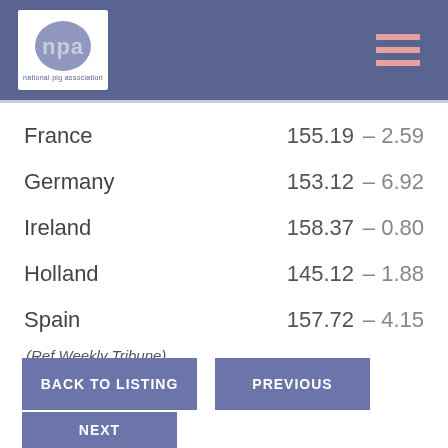[Figure (logo): National Pig Association (NPA) logo with blue circle containing 'npa' text and 'national pig association' subtitle, on white background in blue header bar]
| Country | Value | Change |
| --- | --- | --- |
| France | 155.19 | – 2.59 |
| Germany | 153.12 | – 6.92 |
| Ireland | 158.37 | – 0.80 |
| Holland | 145.12 | – 1.88 |
| Spain | 157.72 | – 4.15 |
(Ref Weekly Tribune)
BACK TO LISTING
PREVIOUS
NEXT